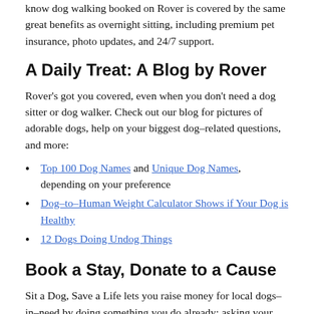know dog walking booked on Rover is covered by the same great benefits as overnight sitting, including premium pet insurance, photo updates, and 24/7 support.
A Daily Treat: A Blog by Rover
Rover's got you covered, even when you don't need a dog sitter or dog walker. Check out our blog for pictures of adorable dogs, help on your biggest dog–related questions, and more:
Top 100 Dog Names and Unique Dog Names, depending on your preference
Dog–to–Human Weight Calculator Shows if Your Dog is Healthy
12 Dogs Doing Undog Things
Book a Stay, Donate to a Cause
Sit a Dog, Save a Life lets you raise money for local dogs–in–need by doing something you do already: asking your neighbors to watch your dog instead of leaving them in a kennel. Many Rover walkers in Brentfield, San Antonio donate a percentage of their earnings to nonprofits through Sit a Dog, Save a Life. When